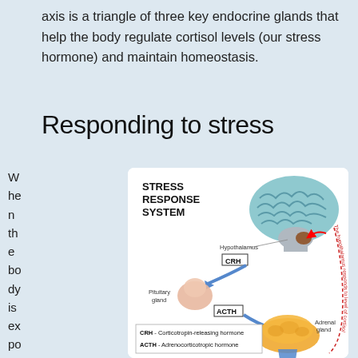axis is a triangle of three key endocrine glands that help the body regulate cortisol levels (our stress hormone) and maintain homeostasis.
Responding to stress
When the body is exposed
[Figure (illustration): Stress Response System diagram showing the HPA axis: Brain with Hypothalamus releasing CRH arrow to Pituitary gland, which releases ACTH arrow to Adrenal gland, producing Cortisol. A red dashed circular arrow labels 'The hypothalamus responds to level of cortisol'. Legend: CRH - Corticotropin-releasing hormone, ACTH - Adrenocorticotropic hormone.]